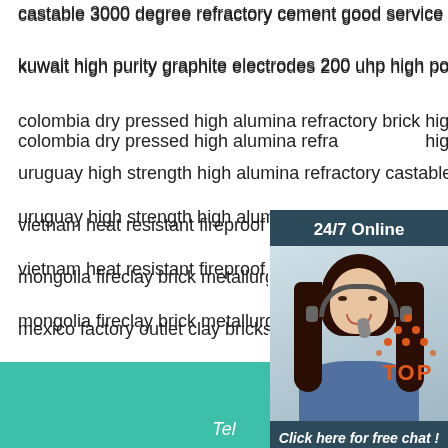castable 3000 degree refractory cement good service
kuwait high purity graphite electrodes 200 uhp high power graphite electrodes sales made
colombia dry pressed high alumina refractory brick high temperature firebrick after-sale warranty
uruguay high strength high alumina refractory castable cfb boiler cement rotary kiln good
vietnam heat resistant fireproof high alumina cement kiln made
mongolia fireclay brick metallurgy building chemical industry made
mexico factory outlet clay bricks indonesia made
lebanon high refractoriness high alumina cement castable good service
egypt silica brick used coke oven silica brick glass tank after-sale warranty
[Figure (illustration): 24/7 Online chat widget with photo of woman with headset, Click here for free chat text, and QUOTATION orange button]
[Figure (illustration): TOP button with orange dots arranged in triangle/arrow shape above orange TOP text]
Tel